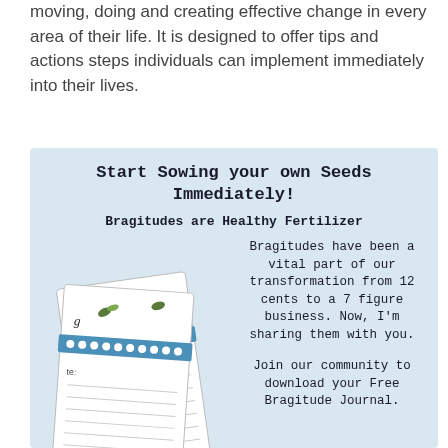moving, doing and creating effective change in every area of their life. It is designed to offer tips and actions steps individuals can implement immediately into their lives.
Start Sowing your own Seeds Immediately!
Bragitudes are Healthy Fertilizer
[Figure (illustration): Two spiral-bound journals/notebooks with a pen icon on the cover, illustrated in blue and white]
Bragitudes have been a vital part of our transformation from 12 cents to a 7 figure business. Now, I'm sharing them with you.

Join our community to download your Free Bragitude Journal.